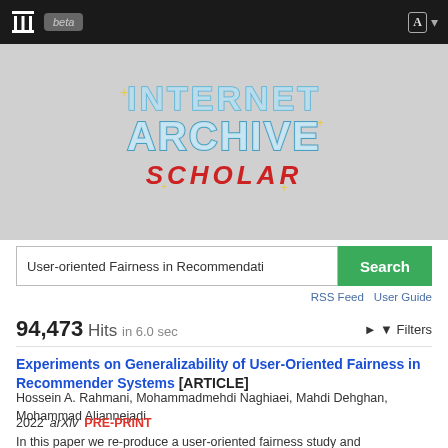Internet Archive Scholar — beta — navigation bar
[Figure (logo): Internet Archive Scholar logo — stylized 3D chrome/blue text reading INTERNET ARCHIVE SCHOLAR in retro style on grey background]
User-oriented Fairness in Recommendati [Search]
RSS Feed   User Guide
94,473 Hits in 6.0 sec
▶ ▼ Filters
Experiments on Generalizability of User-Oriented Fairness in Recommender Systems [ARTICLE]
Hossein A. Rahmani, Mohammadmehdi Naghiaei, Mahdi Dehghan, Mohammad Aliannejadi
2022 arXiv  PRE-PRINT
In this paper we re-produce a user-oriented fairness study and